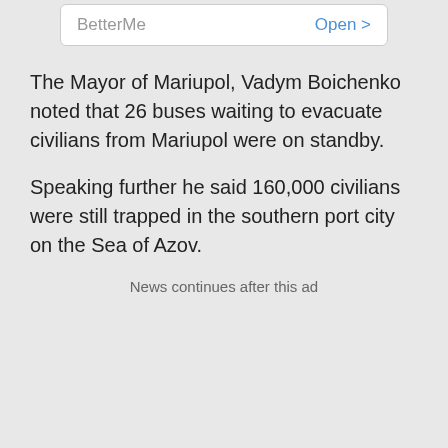[Figure (screenshot): App advertisement banner showing 'BetterMe' app name on the left and 'Open >' button in blue on the right, on a white rounded rectangle card]
The Mayor of Mariupol, Vadym Boichenko noted that 26 buses waiting to evacuate civilians from Mariupol were on standby.
Speaking further he said 160,000 civilians were still trapped in the southern port city on the Sea of Azov.
News continues after this ad